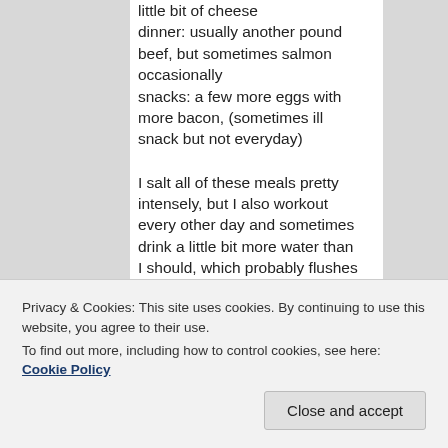little bit of cheese dinner: usually another pound beef, but sometimes salmon occasionally snacks: a few more eggs with more bacon, (sometimes ill snack but not everyday)
I salt all of these meals pretty intensely, but I also workout every other day and sometimes drink a little bit more water than I should, which probably flushes out my electros but who knows. All together I probably get 2 teaspoons of salt a day not including the...
Privacy & Cookies: This site uses cookies. By continuing to use this website, you agree to their use.
To find out more, including how to control cookies, see here: Cookie Policy